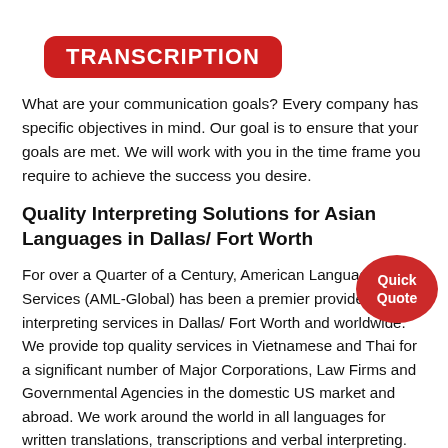TRANSCRIPTION
What are your communication goals? Every company has specific objectives in mind. Our goal is to ensure that your goals are met. We will work with you in the time frame you require to achieve the success you desire.
Quality Interpreting Solutions for Asian Languages in Dallas/ Fort Worth
For over a Quarter of a Century, American Language Services (AML-Global) has been a premier provider of court interpreting services in Dallas/ Fort Worth and worldwide. We provide top quality services in Vietnamese and Thai for a significant number of Major Corporations, Law Firms and Governmental Agencies in the domestic US market and abroad. We work around the world in all languages for written translations, transcriptions and verbal interpreting. The experienced staff at American Language Services has the experience and cutting edge technology to enable us to find the best state certified interpreters or federal certified interpreters in every language and location for whatever your
[Figure (other): Red oval button with white text reading 'Quick Quote']